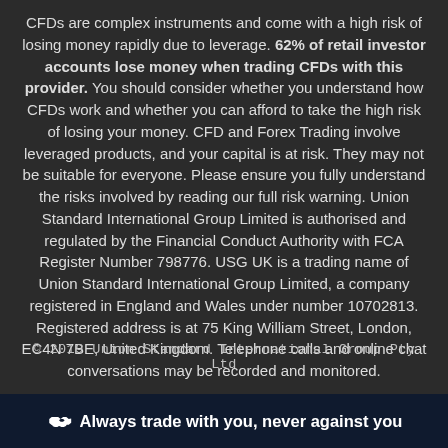CFDs are complex instruments and come with a high risk of losing money rapidly due to leverage. 62% of retail investor accounts lose money when trading CFDs with this provider. You should consider whether you understand how CFDs work and whether you can afford to take the high risk of losing your money. CFD and Forex Trading involve leveraged products, and your capital is at risk. They may not be suitable for everyone. Please ensure you fully understand the risks involved by reading our full risk warning. Union Standard International Group Limited is authorised and regulated by the Financial Conduct Authority with FCA Register Number 798776. USG UK is a trading name of Union Standard International Group Limited, a company registered in England and Wales under number 10702813. Registered address is at 75 King William Street, London, EC4N 7BE, United Kingdom. Telephone calls and online chat conversations may be recorded and monitored.
© 2019 Union Standard International Group Pty Ltd
Always trade with you, never against you